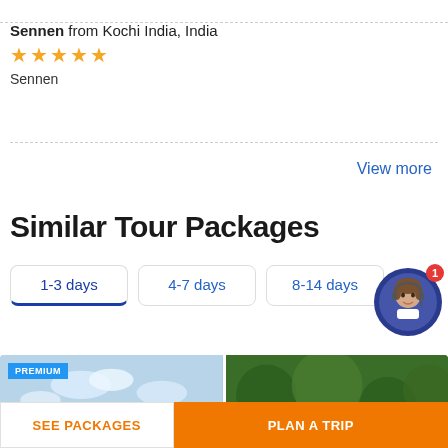beautiful.
Sennen from Kochi India, India
★★★★★
Sennen
View more
Similar Tour Packages
1-3 days
4-7 days
8-14 days
[Figure (illustration): Customer support avatar in a blue circle with notification badge showing 1]
[Figure (photo): Two travel card images side by side, left shows sky/landscape with PREMIUM badge, right shows green nature scene]
SEE PACKAGES
PLAN A TRIP